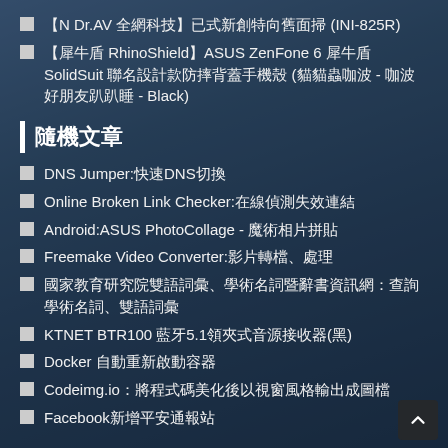【N Dr.AV 全網科技】已式新創特向舊面掃 (INI-825R)
【犀牛盾 RhinoShield】ASUS ZenFone 6 犀牛盾 SolidSuit 聯名設計款防摔背蓋手機殼 (貓貓蟲咖波 - 咖波好朋友趴趴睡 - Black)
隨機文章
DNS Jumper:快速DNS切換
Online Broken Link Checker:在線偵測失效連結
Android:ASUS PhotoCollage - 魔術相片拼貼
Freemake Video Converter:影片轉檔、處理
國家教育研究院雙語詞彙、學術名詞暨辭書資訊網：查詢學術名詞、雙語詞彙
KTNET BTR100 藍牙5.1領夾式音源接收器(黑)
Docker 自動重新啟動容器
Codeimg.io：將程式碼美化後以視窗風格輸出成圖檔
Facebook新增平安通報站